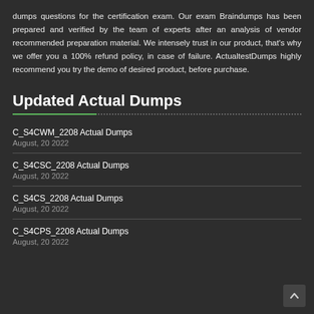dumps questions for the certification exam. Our exam Braindumps has been prepared and verified by the team of experts after an analysis of vendor recommended preparation material. We intensely trust in our product, that's why we offer you a 100% refund policy, in case of failure. ActualtestDumps highly recommend you try the demo of desired product, before purchase.
Updated Actual Dumps
C_S4CWM_2208 Actual Dumps
August, 20 2022
C_S4CSC_2208 Actual Dumps
August, 20 2022
C_S4CS_2208 Actual Dumps
August, 20 2022
C_S4CPS_2208 Actual Dumps
August, 20 2022